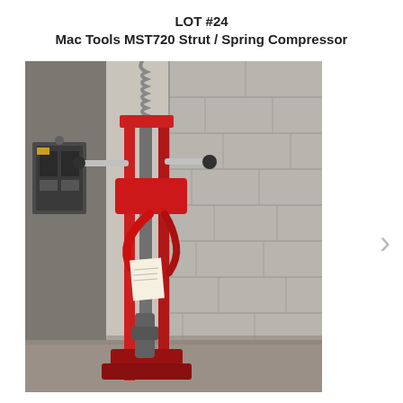LOT #24
Mac Tools MST720 Strut / Spring Compressor
[Figure (photo): Photo of a Mac Tools MST720 Strut / Spring Compressor, a tall red floor-standing automotive tool with a spring coil on top, positioned against a concrete block wall in a garage or shop environment. An electrical panel is visible on the left side.]
>